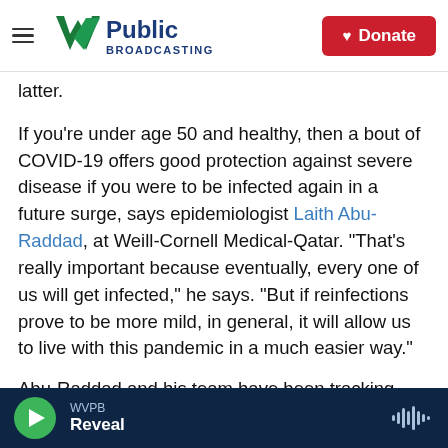WVPB Public Broadcasting — Donate
latter.
If you're under age 50 and healthy, then a bout of COVID-19 offers good protection against severe disease if you were to be infected again in a future surge, says epidemiologist Laith Abu-Raddad, at Weill-Cornell Medical-Qatar. "That's really important because eventually, every one of us will get infected," he says. "But if reinfections prove to be more mild, in general, it will allow us to live with this pandemic in a much easier way."
Abu-Raddad and his team have been tracking
WVPB — Reveal